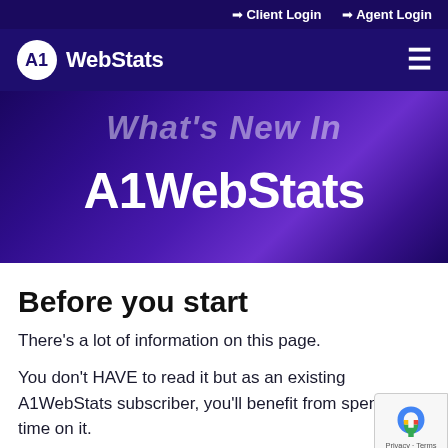➡ Client Login  ➡ Agent Login
[Figure (logo): A1WebStats logo: white circle with A1 text and WebStats wordmark in white on dark navy background, with hamburger menu icon on right]
What's New In A1WebStats
Before you start
There's a lot of information on this page.
You don't HAVE to read it but as an existing A1WebStats subscriber, you'll benefit from spending time on it.